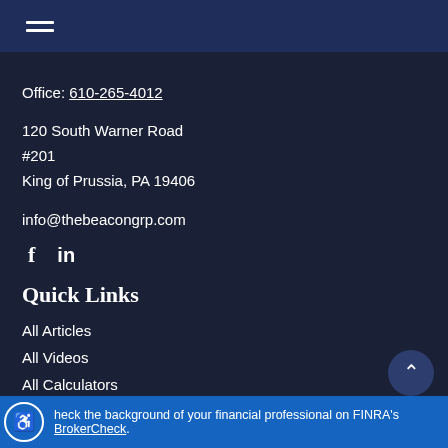Navigation menu (hamburger icon)
Office: 610-265-4012
120 South Warner Road
#201
King of Prussia, PA 19406
info@thebeacongrp.com
[Figure (other): Social media icons: Facebook (f) and LinkedIn (in)]
Quick Links
All Articles
All Videos
All Calculators
All Presentations
heck the background of your financial professional on FINRA's BrokerCheck.